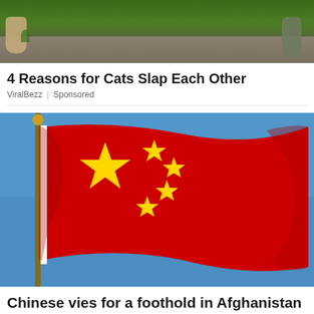[Figure (photo): Top portion of a cat walking on a path with green grass in the background, only legs/paws visible]
4 Reasons for Cats Slap Each Other
ViralBezz | Sponsored
[Figure (photo): Chinese national flag (red with yellow stars) waving in the wind against a blue sky]
Chinese vies for a foothold in Afghanistan through aid to Northern Province